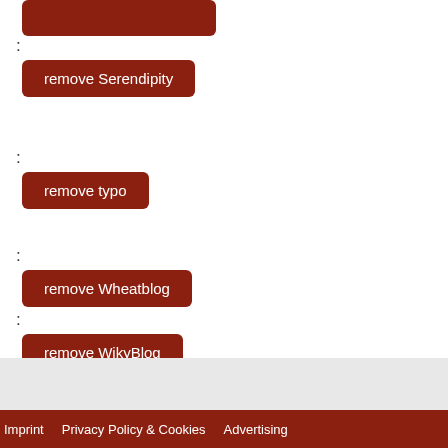: remove Serendipity
: remove typo
: remove Wheatblog
: remove WikyBlog
Imprint   Privacy Policy & Cookies   Advertising